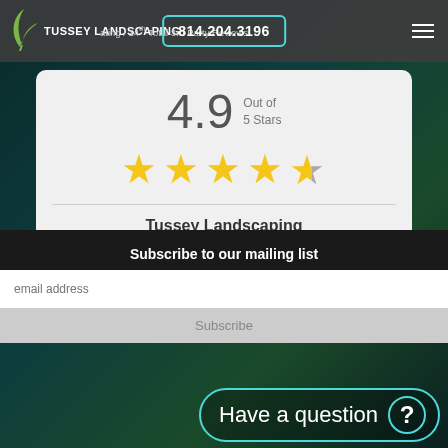TUSSEY LANDSCAPING | Rating / 14 Total 3rd Party Reviews | 814.204.3196
[Figure (infographic): Star rating display showing 4.9 out of 5 stars with 4 full gold stars and 1 partial/half star]
4.9 Out of 5 Stars
Tussey Landscaping
View Reviews
Subscribe to our mailing list
email address
Subscribe
Have a question ?